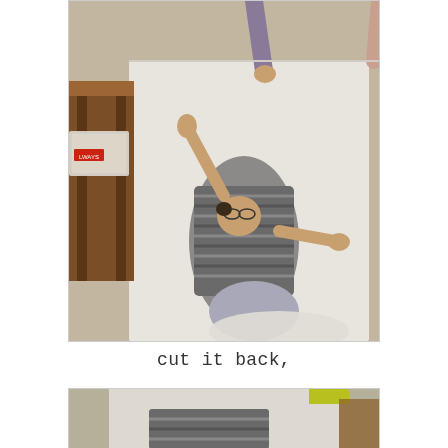[Figure (photo): A woman wearing a striped gray shirt lying on a white sheet/mattress on the floor with her arms outstretched, head tilted back. Another person's hands and legs are visible at the top of the image. A wooden table is visible on the left side. Indoor setting with wood-look flooring.]
cut it back,
[Figure (photo): Partial view of a similar scene — a person in a striped shirt on a white sheet or mattress on the floor, partially cropped at the bottom of the page.]